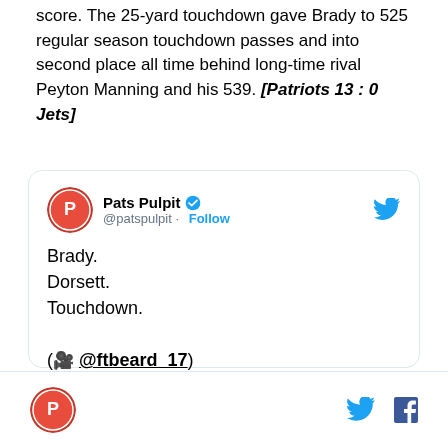score. The 25-yard touchdown gave Brady to 525 regular season touchdown passes and into second place all time behind long-time rival Peyton Manning and his 539. [Patriots 13 : 0 Jets]
[Figure (screenshot): Embedded tweet from @patspulpit (Pats Pulpit, verified account) reading: Brady. Dorsett. Touchdown. (🎥 @ftbeard_17) twitter.com/ftbeard_17/sta... — 5:31 PM · Sep 22, 2019]
Pats Pulpit logo, Twitter bird icon, Facebook f icon